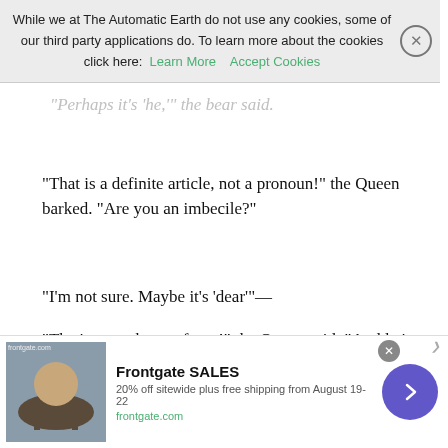“Of course they do,” the Queen said.
[Figure (screenshot): Cookie consent banner overlay: 'While we at The Automatic Earth do not use any cookies, some of our third party applications do. To learn more about the cookies click here: Learn More  Accept Cookies']
“Perhaps it’s ‘he,’” the bear said.
“That is a definite article, not a pronoun!” the Queen barked. “Are you an imbecile?”
“I’m not sure. Maybe it’s ‘dear’”—
“That’s enough out of you!” the Queen said. “And let’s have no more impertinence! Do you have counsel?”
“Why, yes,” the bear said. “Mr. Kafka, who is seated beside me.”
“You are mistaken,” the Queen said. “That is a cockroach seated beside you, and the court is displeased to see it. Bailiff, please remove that disgusting cockroach from my court.”
[Figure (screenshot): Advertisement banner for Frontgate SALES: '20% off sitewide plus free shipping from August 19-22, frontgate.com' with a circular purple arrow button and close button.]